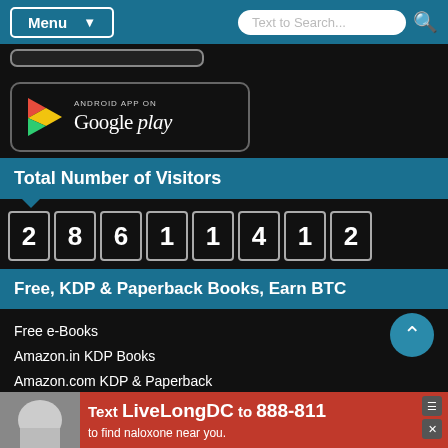Menu | Text to Search...
[Figure (screenshot): Android App on Google Play badge]
Total Number of Visitors
28611412
Free, KDP & Paperback Books, Earn BTC
Free e-Books
Amazon.in KDP Books
Amazon.com KDP & Paperback
Objective-Books Affiliate Programme
Guest Post / Sponsored Post
Rank on G
[Figure (screenshot): Advertisement banner: Text LiveLongDC to 888-811 to find naloxone near you.]